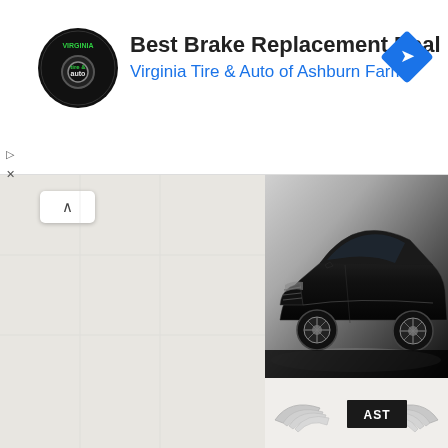[Figure (screenshot): Advertisement banner for Virginia Tire & Auto of Ashburn Farms with tire and auto logo, navigation icon]
Best Brake Replacement Deal
Virginia Tire & Auto of Ashburn Farms
[Figure (photo): 2011 Aston Martin DB9 Carbon Black - black sports car on studio background]
▲ 2011 Aston Martin DB9 Carbon Black
[Figure (logo): Aston Martin wings logo with ASTON MARTIN text (partially visible)]